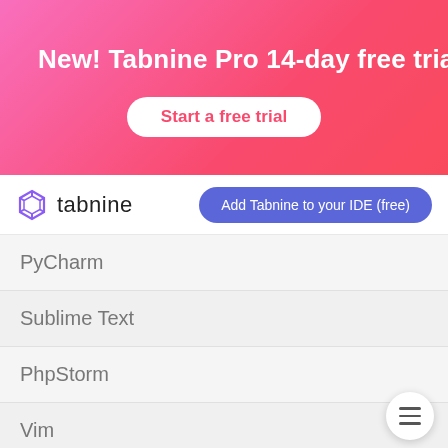[Figure (screenshot): Tabnine promotional banner with gradient pink background showing 'New! Tabnine Pro 14-day free trial' and 'Start a free trial' button]
New! Tabnine Pro 14-day free trial
Start a free trial
[Figure (logo): Tabnine logo with hexagonal icon and text 'tabnine']
Add Tabnine to your IDE (free)
PyCharm
Sublime Text
PhpStorm
Vim
GoLand
RubyMine